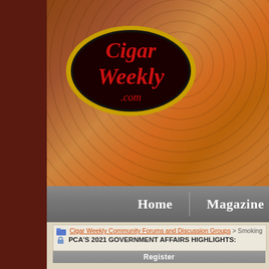[Figure (logo): Cigar Weekly .com logo — red text on black oval with gold border]
Home | Magazine
Cigar Weekly Community Forums and Discussion Groups > Smoking
PCA'S 2021 GOVERNMENT AFFAIRS HIGHLIGHTS:
Register
Cigar Rights in America Discussion of smokers' rights in all 50 stat...